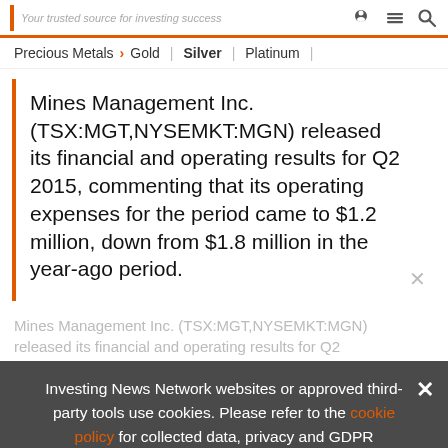Your trusted source for investing success
Precious Metals > Gold | Silver | Platinum |
Mines Management Inc. (TSX:MGT,NYSEMKT:MGN) released its financial and operating results for Q2 2015, commenting that its operating expenses for the period came to $1.2 million, down from $1.8 million in the year-ago period.
Mines Management Inc. (TSX:MGT,NYSEMKT:MGN) released its financial and operating results for Q2
Investing News Network websites or approved third-party tools use cookies. Please refer to the cookie policy for collected data, privacy and GDPR compliance. By continuing to browse the site, you agree to our use of cookies.